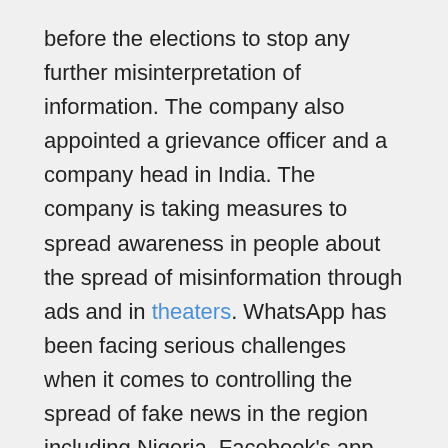before the elections to stop any further misinterpretation of information. The company also appointed a grievance officer and a company head in India. The company is taking measures to spread awareness in people about the spread of misinformation through ads and in theaters. WhatsApp has been facing serious challenges when it comes to controlling the spread of fake news in the region including Nigeria. Facebook's app should take some serious measures to stop this too as the upcoming elections are really influenced by such fake news.
Let's see what WhatsApp does to control the situation in Nigeria. Stay tuned to learn more!